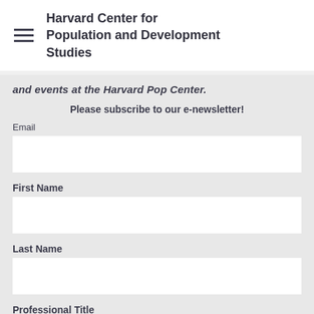Harvard Center for Population and Development Studies
and events at the Harvard Pop Center.
Please subscribe to our e-newsletter!
Email
First Name
Last Name
Professional Title